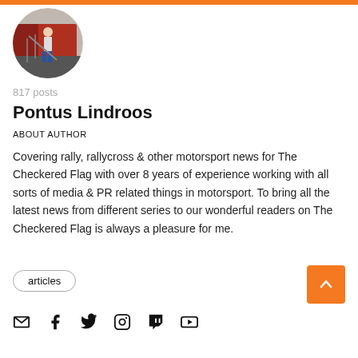[Figure (photo): Circular profile photo of Pontus Lindroos standing on stairs of a red building]
817 posts
Pontus Lindroos
ABOUT AUTHOR
Covering rally, rallycross & other motorsport news for The Checkered Flag with over 8 years of experience working with all sorts of media & PR related things in motorsport. To bring all the latest news from different series to our wonderful readers on The Checkered Flag is always a pleasure for me.
articles
[Figure (illustration): Social media icons: email, facebook, twitter, instagram, twitch, youtube]